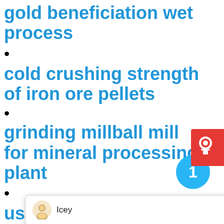gold beneficiation wet process
cold crushing strength of iron ore pellets
grinding millball mill for mineral processing plant
used crushers fairly
[Figure (other): Red circular customer support widget with headset icon in top-right corner]
[Figure (other): Blue circular notification badge showing number 1]
Icey
Welcome to Liming Heavy Industry! Now our on-line service is chatting with you! Please choose the language :